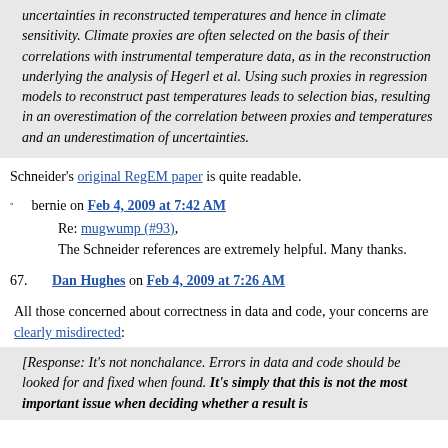uncertainties in reconstructed temperatures and hence in climate sensitivity. Climate proxies are often selected on the basis of their correlations with instrumental temperature data, as in the reconstruction underlying the analysis of Hegerl et al. Using such proxies in regression models to reconstruct past temperatures leads to selection bias, resulting in an overestimation of the correlation between proxies and temperatures and an underestimation of uncertainties.
Schneider's original RegEM paper is quite readable.
bernie on Feb 4, 2009 at 7:42 AM
Re: mugwump (#93), The Schneider references are extremely helpful. Many thanks.
67. Dan Hughes on Feb 4, 2009 at 7:26 AM
All those concerned about correctness in data and code, your concerns are clearly misdirected:
[Response: It's not nonchalance. Errors in data and code should be looked for and fixed when found. It's simply that this is not the most important issue when deciding whether a result is